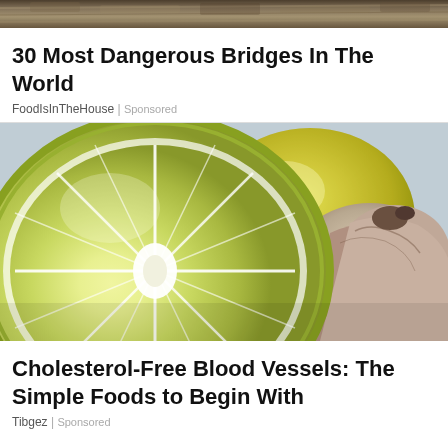[Figure (photo): Top strip of a dark textured image showing a bridge or similar structure, partial view]
30 Most Dangerous Bridges In The World
FoodIsInTheHouse | Sponsored
[Figure (photo): Close-up photo of a sliced lemon and garlic clove on a light blue background]
Cholesterol-Free Blood Vessels: The Simple Foods to Begin With
Tibgez | Sponsored